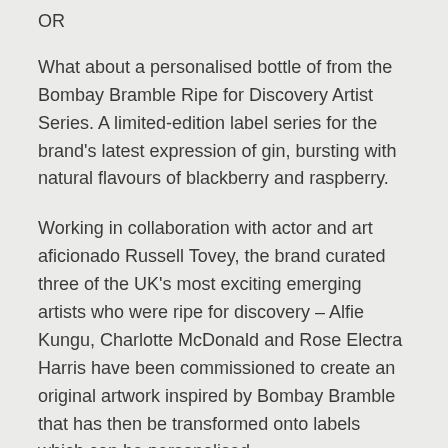OR
What about a personalised bottle of from the Bombay Bramble Ripe for Discovery Artist Series. A limited-edition label series for the brand's latest expression of gin, bursting with natural flavours of blackberry and raspberry.
Working in collaboration with actor and art aficionado Russell Tovey, the brand curated three of the UK's most exciting emerging artists who were ripe for discovery – Alfie Kungu, Charlotte McDonald and Rose Electra Harris have been commissioned to create an original artwork inspired by Bombay Bramble that has then be transformed onto labels which can be personalised.
Personalised bottles available to purchase via Selfridges for £32.99